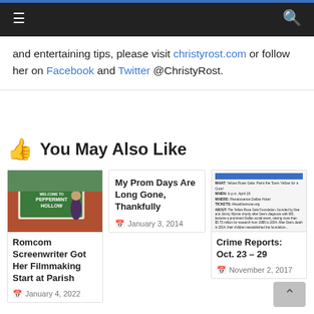Navigation bar with hamburger menu and search icon
and entertaining tips, please visit christyrost.com or follow her on Facebook and Twitter @ChristyRost.
👍 You May Also Like
[Figure (photo): Photo of a woman standing in front of Peppermint Hollow sign]
Romcom Screenwriter Got Her Filmmaking Start at Parish
January 4, 2022
My Prom Days Are Long Gone, Thankfully
January 3, 2014
[Figure (screenshot): Screenshot of a Yellow Rose Gala event flyer with WHAT, WHEN, WHERE, TICKETS, ABOUT details]
Crime Reports: Oct. 23 – 29
November 2, 2017